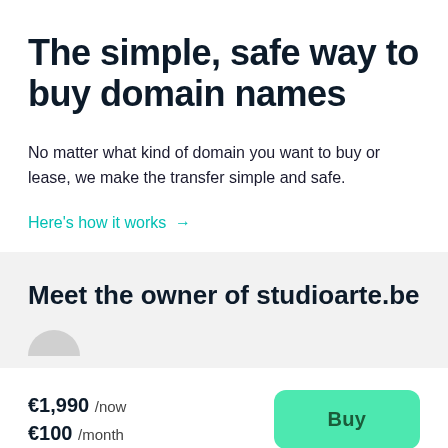The simple, safe way to buy domain names
No matter what kind of domain you want to buy or lease, we make the transfer simple and safe.
Here's how it works →
Meet the owner of studioarte.be
€1,990 /now €100 /month
Buy